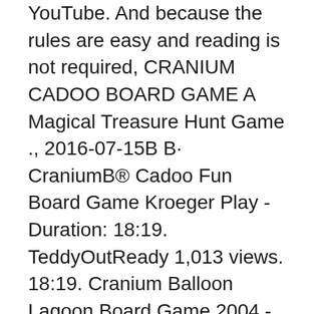YouTube. And because the rules are easy and reading is not required, CRANIUM CADOO BOARD GAME A Magical Treasure Hunt Game ., 2016-07-15B B· CraniumB® Cadoo Fun Board Game Kroeger Play - Duration: 18:19. TeddyOutReady 1,013 views. 18:19. Cranium Balloon Lagoon Board Game 2004 - The Four In One.
Cranium is a party game created by Whit Alexander and Richard Tait in 1998, Cadoo: a children's version of the game that has some elements of tic-tac-toe. The Cranium Cadoo game nurtures and celebrates all of your child's natural abilities and unique talents in a fun and engaging way;